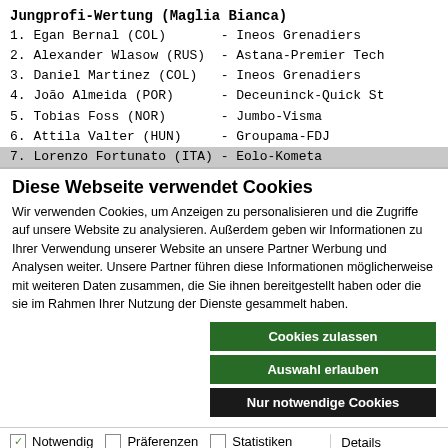Jungprofi-Wertung (Maglia Bianca)
1. Egan Bernal (COL) - Ineos Grenadiers
2. Alexander Wlasow (RUS) - Astana-Premier Tech
3. Daniel Martinez (COL) - Ineos Grenadiers
4. João Almeida (POR) - Deceuninck-Quick St
5. Tobias Foss (NOR) - Jumbo-Visma
6. Attila Valter (HUN) - Groupama-FDJ
7. Lorenzo Fortunato (ITA) - Eolo-Kometa
Diese Webseite verwendet Cookies
Wir verwenden Cookies, um Anzeigen zu personalisieren und die Zugriffe auf unsere Website zu analysieren. Außerdem geben wir Informationen zu Ihrer Verwendung unserer Website an unsere Partner Werbung und Analysen weiter. Unsere Partner führen diese Informationen möglicherweise mit weiteren Daten zusammen, die Sie ihnen bereitgestellt haben oder die sie im Rahmen Ihrer Nutzung der Dienste gesammelt haben.
Cookies zulassen
Auswahl erlauben
Nur notwendige Cookies
Notwendig   Präferenzen   Statistiken   Marketing   Details zeigen